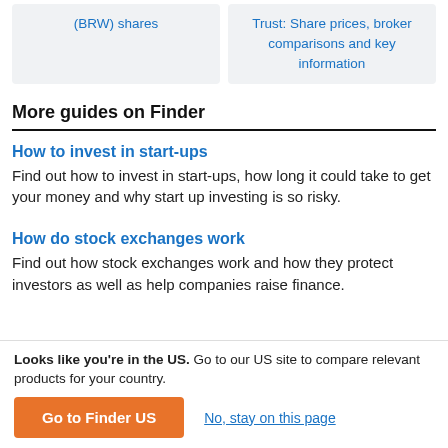(BRW) shares
Trust: Share prices, broker comparisons and key information
More guides on Finder
How to invest in start-ups
Find out how to invest in start-ups, how long it could take to get your money and why start up investing is so risky.
How do stock exchanges work
Find out how stock exchanges work and how they protect investors as well as help companies raise finance.
Looks like you're in the US. Go to our US site to compare relevant products for your country.
Go to Finder US
No, stay on this page